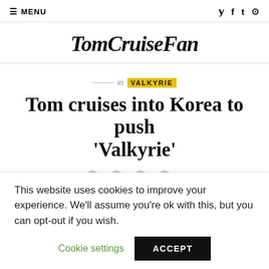≡ MENU   ɏ f t ⊙
TomCruiseFan
in VALKYRIE
Tom cruises into Korea to push 'Valkyrie'
This website uses cookies to improve your experience. We'll assume you're ok with this, but you can opt-out if you wish.
Cookie settings   ACCEPT